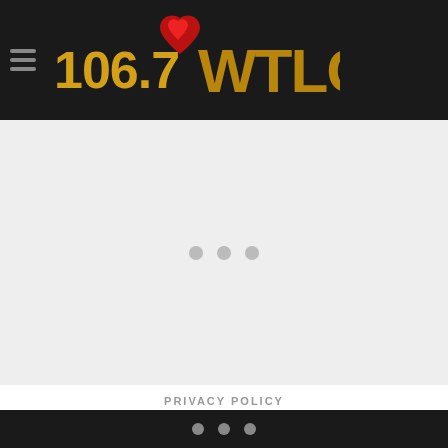106.7 WTLC
[Figure (other): Gray loading area with three gray dots centered]
PRIVACY POLICY
COOKIE SETTINGS
AD CHOICE
three dots navigation indicator